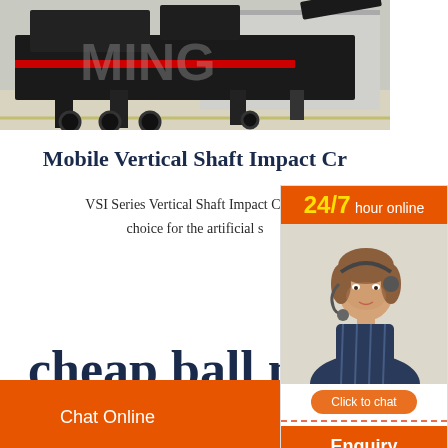[Figure (photo): Mobile vertical shaft impact crusher machine on a truck/trailer, large industrial equipment in a warehouse or yard setting, dark machinery with red accents, watermark overlay]
Mobile Vertical Shaft Impact Cr
VSI Series Vertical Shaft Impact Crush... choice for the artificial s...
[Figure (photo): Customer service representative woman with headset, 24/7 hour online support banner, Click to chat button, Enquiry button]
cheap ball mill fo
Chat Online   cywaitml @gmail.com